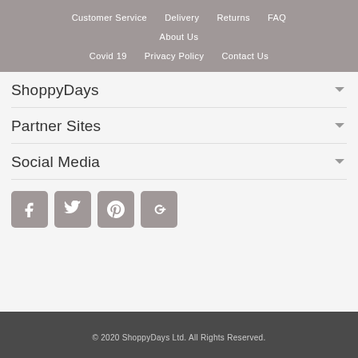Customer Service  Delivery  Returns  FAQ  About Us  Covid 19  Privacy Policy  Contact Us
ShoppyDays
Partner Sites
Social Media
[Figure (other): Social media icon buttons: Facebook, Twitter, Pinterest, Google+]
© 2020 ShoppyDays Ltd. All Rights Reserved.